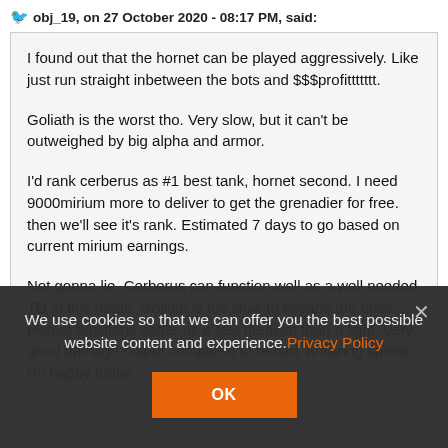obj_19, on 27 October 2020 - 08:17 PM, said:
I found out that the hornet can be played aggressively. Like just run straight inbetween the bots and $$$profittttttt.
Goliath is the worst tho. Very slow, but it can't be outweighed by big alpha and armor.
I'd rank cerberus as #1 best tank, hornet second. I need 9000mirium more to deliver to get the grenadier for free. then we'll see it's rank. Estimated 7 days to go based on current mirium earnings.
Not gonna lie, Cerberus can function well as a well needed TD in this mode. Goliath is too slow to escape the boss. Hornet functions better as a fast medium than a light. Very good damage output compared to reload. amazing speed. i'm happy today.
We use cookies so that we can offer you the best possible website content and experience. Privacy Policy